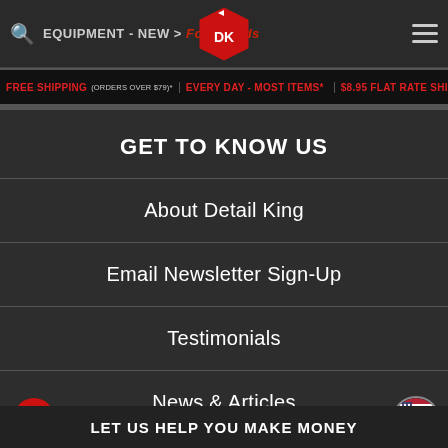EQUIPMENT - NEW > Foam Pads
GET TO KNOW US
About Detail King
Email Newsletter Sign-Up
Testimonials
News & Articles
Video Vault
Read Our Blog
LET US HELP YOU MAKE MONEY